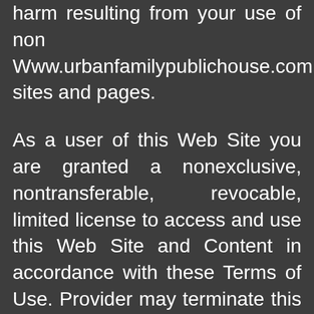harm resulting from your use of non Www.urbanfamilypublichouse.com sites and pages.
As a user of this Web Site you are granted a nonexclusive, nontransferable, revocable, limited license to access and use this Web Site and Content in accordance with these Terms of Use. Provider may terminate this license at any time for any reason.
The Content on is for your personal use only and not for commercial